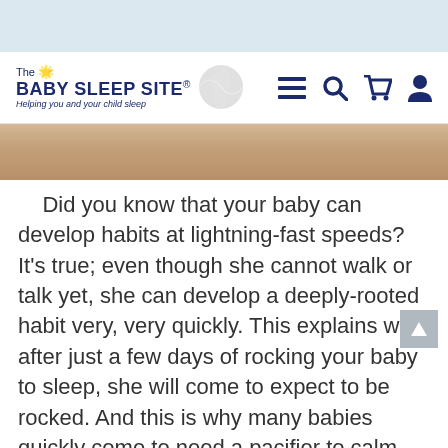The Baby Sleep Site® – Helping you and your child sleep
[Figure (photo): Partial photo of a sleeping baby, cropped view showing face and blanket]
Did you know that your baby can develop habits at lightning-fast speeds? It's true; even though she cannot walk or talk yet, she can develop a deeply-rooted habit very, very quickly. This explains why, after just a few days of rocking your baby to sleep, she will come to expect to be rocked. And this is why many babies quickly come to need a pacifier to calm down, even if they have only used the pacifier for a week or two. Babies can be especially prone to develop bad